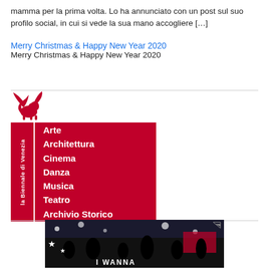mamma per la prima volta. Lo ha annunciato con un post sul suo profilo social, in cui si vede la sua mano accogliere […]
Merry Christmas & Happy New Year 2020
Merry Christmas & Happy New Year 2020
[Figure (logo): La Biennale di Venezia logo with winged lion above red box listing: Arte, Architettura, Cinema, Danza, Musica, Teatro, Archivio Storico]
[Figure (photo): Advertisement image showing silhouettes of people at a concert with stars, partially visible text 'I WANNA']